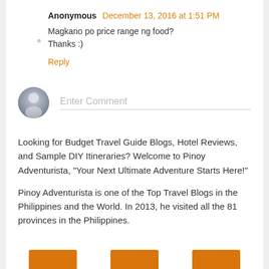Anonymous December 13, 2016 at 1:51 PM
Magkano po price range ng food?
Thanks :)
Reply
[Figure (other): User avatar icon (grey silhouette) with Enter Comment input field]
Looking for Budget Travel Guide Blogs, Hotel Reviews, and Sample DIY Itineraries? Welcome to Pinoy Adventurista, "Your Next Ultimate Adventure Starts Here!"
Pinoy Adventurista is one of the Top Travel Blogs in the Philippines and the World. In 2013, he visited all the 81 provinces in the Philippines.